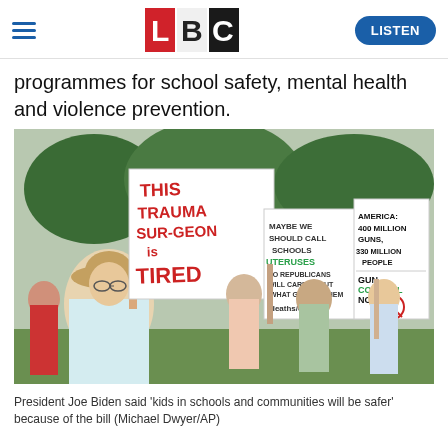LBC | LISTEN
programmes for school safety, mental health and violence prevention.
[Figure (photo): Crowd of protesters holding signs at a gun control rally. Signs include 'This trauma surgeon is tired', 'Maybe we should call schools uteruses so Republicans will care about what goes in them deaths/day', 'America: 400 million guns, 330 million people. Gun control not...', and others. Trees in background.]
President Joe Biden said 'kids in schools and communities will be safer' because of the bill (Michael Dwyer/AP)